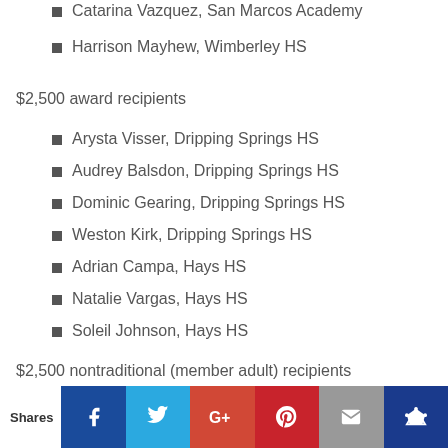Catarina Vazquez, San Marcos Academy
Harrison Mayhew, Wimberley HS
$2,500 award recipients
Arysta Visser, Dripping Springs HS
Audrey Balsdon, Dripping Springs HS
Dominic Gearing, Dripping Springs HS
Weston Kirk, Dripping Springs HS
Adrian Campa, Hays HS
Natalie Vargas, Hays HS
Soleil Johnson, Hays HS
$2,500 nontraditional (member adult) recipients
Matthew Bridges, Buda
Toby Porter, Kyle